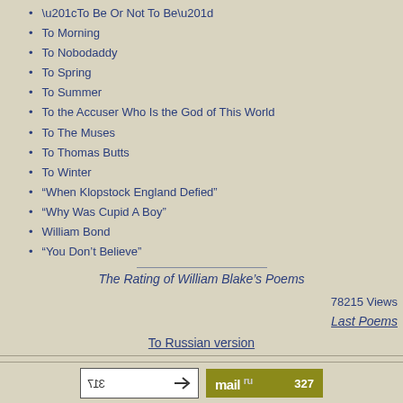“To Be Or Not To Be”
To Morning
To Nobodaddy
To Spring
To Summer
To the Accuser Who Is the God of This World
To The Muses
To Thomas Butts
To Winter
“When Klopstock England Defied”
“Why Was Cupid A Boy”
William Bond
“You Don’t Believe”
The Rating of William Blake’s Poems
78215 Views
Last Poems
To Russian version
English Poetry. E-mail eng-poetry.ru@yandex.ru